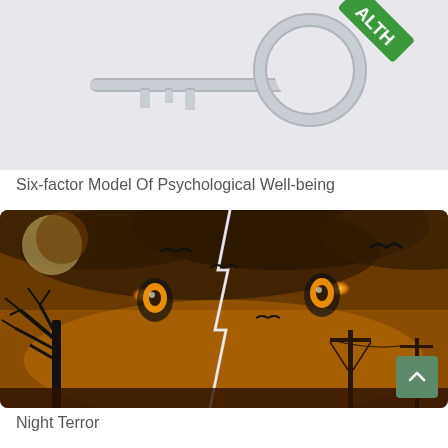[Figure (photo): A silver metal key with a green tag that reads 'HEALTH' in white text, on a light gray background. The top portion of the image is visible, cropped at the top.]
Six-factor Model Of Psychological Well-being
[Figure (photo): A dark, stormy night scene with glowing orange eyes visible in the clouds, lightning bolts, silhouettes of birds flying, a bare tree on the left, and utility poles. Dramatic and eerie atmosphere with orange-brown sky tones.]
Night Terror